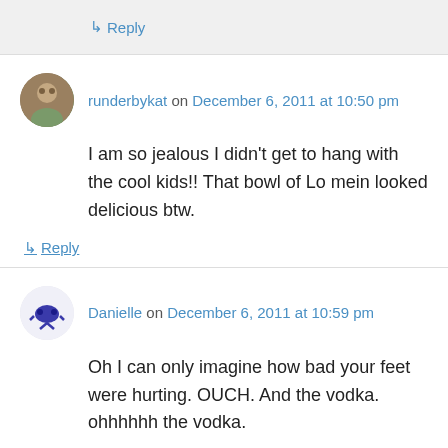↳ Reply
runderbykat on December 6, 2011 at 10:50 pm
I am so jealous I didn't get to hang with the cool kids!! That bowl of Lo mein looked delicious btw.
↳ Reply
Danielle on December 6, 2011 at 10:59 pm
Oh I can only imagine how bad your feet were hurting. OUCH. And the vodka. ohhhhhh the vodka.
↳ Reply